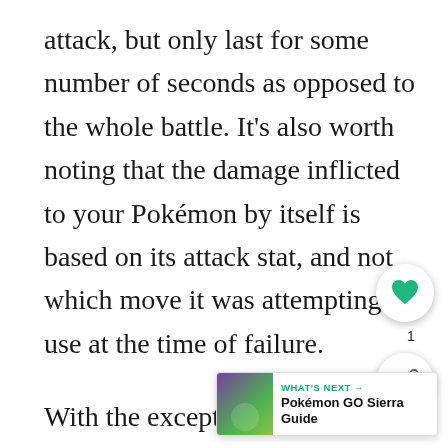attack, but only last for some number of seconds as opposed to the whole battle. It's also worth noting that the damage inflicted to your Pokémon by itself is based on its attack stat, and not which move it was attempting to use at the time of failure.
With the exception of confusion, all of these statues follow the Pokémon out of battle, and only sleep and freeze have a chance to wear off during a battle. Since Pokémon GO is big on adding new berries, it's unlikely we'll be seeing items such as Burn Heals and Paralyze Heals being dropped from stops. I'm going to assume that the effects will be cured either at the end of the entire
[Figure (infographic): UI overlay elements: a circular heart/favorite button with count '1', a share button, and a 'WHAT'S NEXT' banner for Pokémon GO Sierra Guide]